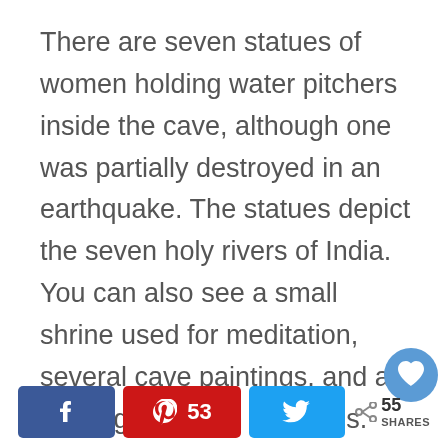There are seven statues of women holding water pitchers inside the cave, although one was partially destroyed in an earthquake. The statues depict the seven holy rivers of India. You can also see a small shrine used for meditation, several cave paintings, and a bathing pool with fountains.
[Figure (other): Heart/favorite button (circular blue button with heart icon) and social sharing footer bar with Facebook share button, Pinterest pin button showing count 53, Twitter share button, and a share icon with count 55 and label SHARES]